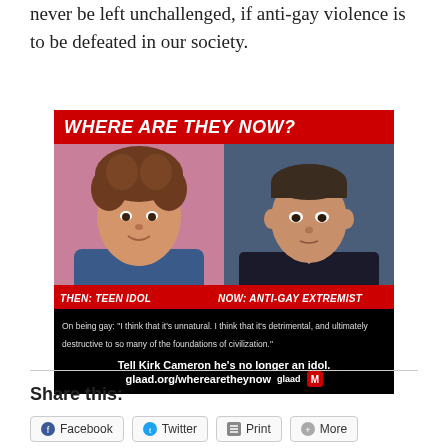never be left unchallenged, if anti-gay violence is to be defeated in our society.
[Figure (infographic): GLAAD 'Where Are They Now?' campaign image showing Kirk Cameron. Header reads 'WHERE ARE THEY NOW?' in white italic text on red background. Two photos side by side: left labeled 'THEN: TEEN IDOL', right labeled 'NOW: ANTI-GAY EXTREMIST'. Below the photos is a quote: On being gay: "I think that it's unnatural. I think that it's detrimental, and ultimately destructive to so many of the foundations of civilization." Bottom text: 'Tell Kirk Cameron he's no longer an idol. glaad.org/wherearetheynow' with GLAAD logo.]
Share this:
Facebook
Twitter
Print
More